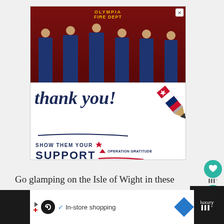[Figure (photo): Advertisement for Operation Gratitude showing firefighters from Olympia Fire Department standing in front of a fire truck, with a 'thank you' message in cursive and 'SHOW THEM YOUR SUPPORT' text with Operation Gratitude logo, and a patriotic pencil graphic]
Go glamping on the Isle of Wight in these
In-store shopping